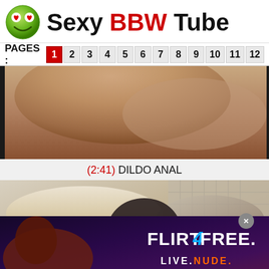Sexy BBW Tube
PAGES: 1 2 3 4 5 6 7 8 9 10 11 12
[Figure (photo): Video thumbnail showing close-up skin tones, beige/brown gradient]
(2:41) DILDO ANAL
[Figure (photo): Video thumbnail showing two people on a surface, with Flirt4Free advertisement overlay reading LIVE. NUDE.]